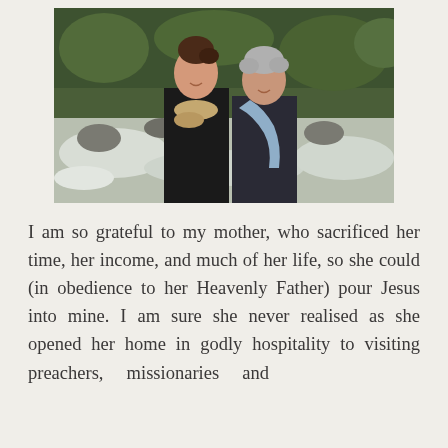[Figure (photo): Two women standing side by side outdoors near a rushing river with trees in the background. The woman on the left has dark hair pulled up and wears a black jacket with a fur-trimmed scarf. The woman on the right has short grey hair and wears a dark top with a light blue scarf.]
I am so grateful to my mother, who sacrificed her time, her income, and much of her life, so she could (in obedience to her Heavenly Father) pour Jesus into mine. I am sure she never realised as she opened her home in godly hospitality to visiting preachers, missionaries and